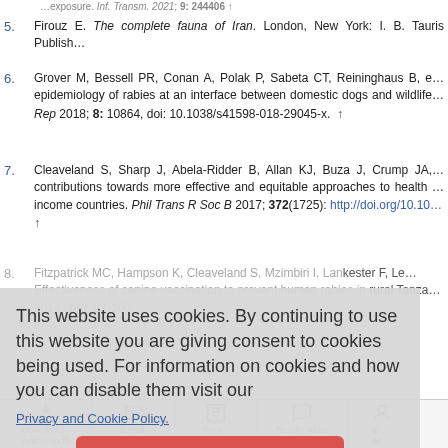5. Firouz E. The complete fauna of Iran. London, New York: I. B. Tauris Publish…
6. Grover M, Bessell PR, Conan A, Polak P, Sabeta CT, Reininghaus B, e… epidemiology of rabies at an interface between domestic dogs and wildlife… Rep 2018; 8: 10864, doi: 10.1038/s41598-018-29045-x. ↑
7. Cleaveland S, Sharp J, Abela-Ridder B, Allan KJ, Buza J, Crump JA,… contributions towards more effective and equitable approaches to health … income countries. Phil Trans R Soc B 2017; 372(1725): http://doi.org/10.10… ↑
8. Fitzpatrick MC, Hampson K, Cleaveland S, Mzimbiri I, Lankester F, Le… Effectiveness of canine vaccination to prevent human rabies in rural Tanza… 2014; 160: 91-100.
This website uses cookies. By continuing to use this website you are giving consent to cookies being used. For information on cookies and how you can disable them visit our
Privacy and Cookie Policy.
AGREE & PROCEED